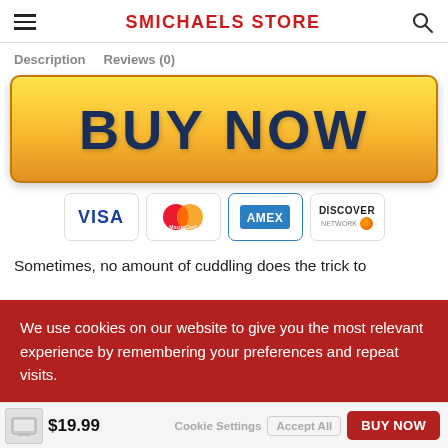SMICHAELS STORE
Description   Reviews (0)
[Figure (illustration): Yellow gradient BUY NOW button with dark blue bold text, followed by four payment card icons: VISA, MasterCard, AMEX, Discover]
Sometimes, no amount of cuddling does the trick to
We use cookies on our website to give you the most relevant experience by remembering your preferences and repeat visits.
$19.99   Cookie Settings   Accept All   BUY NOW